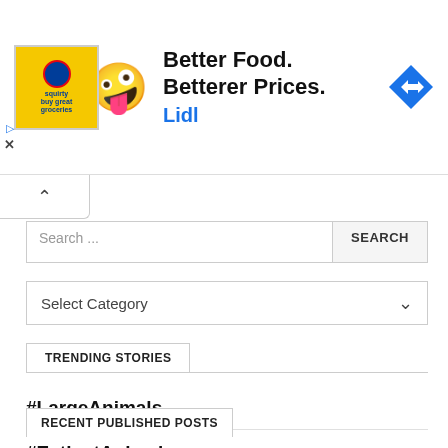[Figure (other): Lidl advertisement banner with yellow logo, ghost mascot, text 'Better Food. Betterer Prices. Lidl', and blue diamond navigation arrow icon]
Search ...
SEARCH
Select Category
TRENDING STORIES
#LargeAnimals
#ExtinctAnimals
#TattooQuotes
#KoreanBeauty
#JapanBeauty
RECENT PUBLISHED POSTS